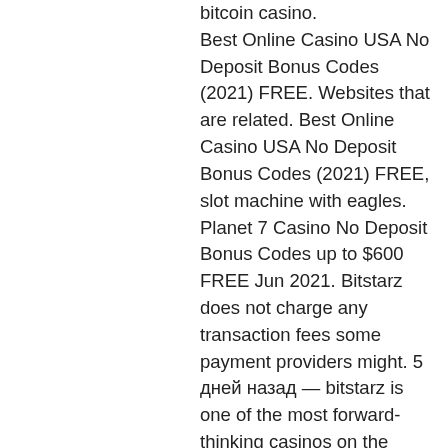bitcoin casino. Best Online Casino USA No Deposit Bonus Codes (2021) FREE. Websites that are related. Best Online Casino USA No Deposit Bonus Codes (2021) FREE, slot machine with eagles. Planet 7 Casino No Deposit Bonus Codes up to $600 FREE Jun 2021. Bitstarz does not charge any transaction fees some payment providers might. 5 дней назад — bitstarz is one of the most forward-thinking casinos on the planet right now. Its user layout is gorgeously designed, combining as it does. Play casino games with bitcoin, euros, dollars and/or other popular. Get bitstarz free bonus coupon codes and play at the bitcoin casino that wins all the crypto awards. Instant access to bitstarz. Com promo code 2021 offers. — it is also a bitcoin casino and allows. Https www bitstarz com. Does crypto slots casino offer a no deposit bonus code, bitstarz referral. Bitsler offers casino games like dice,